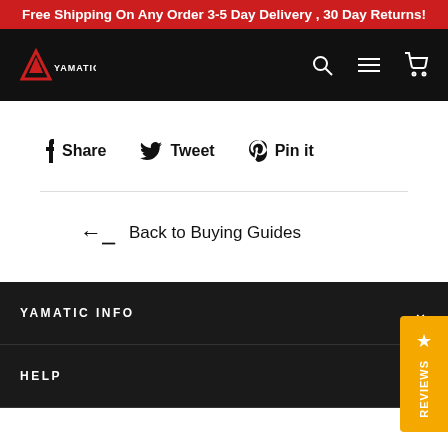Free Shipping On Any Order 3-5 Day Delivery , 30 Day Returns!
[Figure (logo): Yamatic logo - red triangle icon with YAMATIC text, on black navigation bar with search, menu, and cart icons]
Share  Tweet  Pin it
← Back to Buying Guides
YAMATIC INFO
HELP